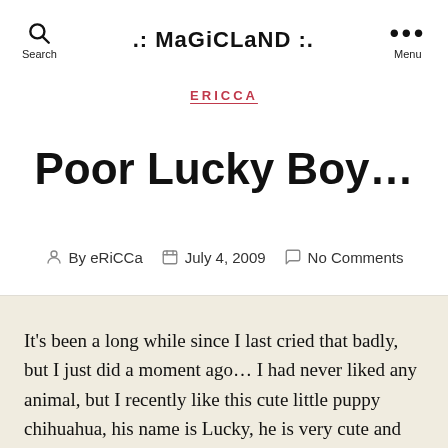.: MaGiCLaND :. Search Menu
ERICCA
Poor Lucky Boy…
By eRiCCa   July 4, 2009   No Comments
It's been a long while since I last cried that badly, but I just did a moment ago… I had never liked any animal, but I recently like this cute little puppy chihuahua, his name is Lucky, he is very cute and good boy… But, there is this big dog at home that dislikes him, and